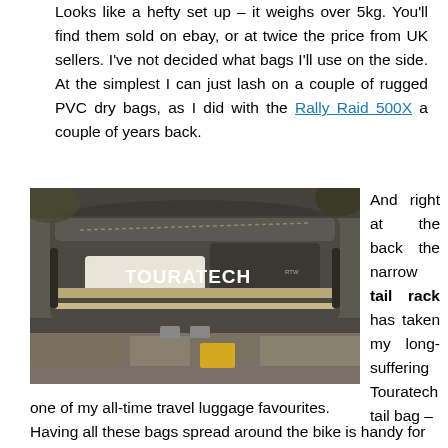Looks like a hefty set up – it weighs over 5kg. You'll find them sold on ebay, or at twice the price from UK sellers. I've not decided what bags I'll use on the side. At the simplest I can just lash on a couple of rugged PVC dry bags, as I did with the Rally Raid 500X a couple of years back.
[Figure (photo): A Touratech tail bag photographed from above at an angle, sitting on a bike rack. The bag is grey and tan coloured with a zipper, branded TOURATECH.]
And right at the back the narrow tail rack has taken my long-suffering Touratech tail bag – one of my all-time travel luggage favourites.
Having all these bags spread around the bike is handy for